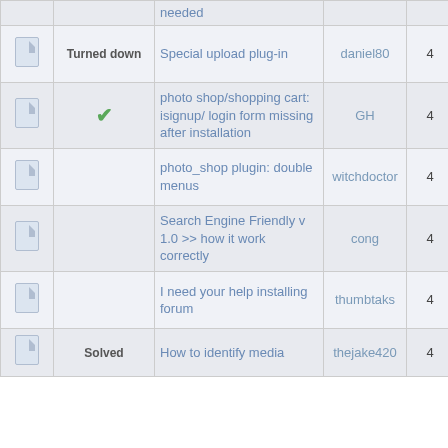|  | Status | Topic | Author | Replies | Views | Last Post |
| --- | --- | --- | --- | --- | --- | --- |
| [icon] |  | needed |  |  |  | by r... |
| [icon] | Turned down | Special upload plug-in | daniel80 | 4 | 4476 | Aug 2006 05:3... by N... |
| [icon] | [checkmark] | photo shop/shopping cart: isignup/login form missing after installation | GH | 4 | 4659 | Sep 10, ... 02:1... by G... |
| [icon] |  | photo_shop plugin: double menus | witchdoctor | 4 | 4538 | June 2006 09:2... by S... |
| [icon] |  | Search Engine Friendly v 1.0 >> how it work correctly | cong | 4 | 3777 | April 2007 10:5... by d... |
| [icon] |  | I need your help installing forum | thumbtaks | 4 | 3647 | July 2008 09:3... by R... Kelle... |
| [icon] | Solved | How to identify media | thejake420 | 4 | 4738 | Janu... |